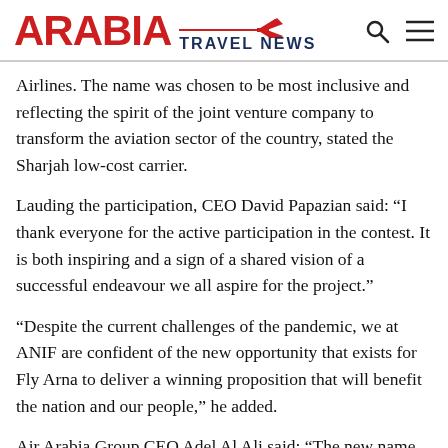[Figure (logo): Arabia Travel News logo with red 'ARABIA' text, navy 'TRAVEL NEWS' text, airplane icon and horizontal line, plus search and menu icons]
Airlines. The name was chosen to be most inclusive and reflecting the spirit of the joint venture company to transform the aviation sector of the country, stated the Sharjah low-cost carrier.
Lauding the participation, CEO David Papazian said: “I thank everyone for the active participation in the contest. It is both inspiring and a sign of a shared vision of a successful endeavour we all aspire for the project.”
“Despite the current challenges of the pandemic, we at ANIF are confident of the new opportunity that exists for Fly Arna to deliver a winning proposition that will benefit the nation and our people,” he added.
Air Arabia Group CEO Adel Al Ali said: “The new name represents the aspirations of the people of Armenia and is